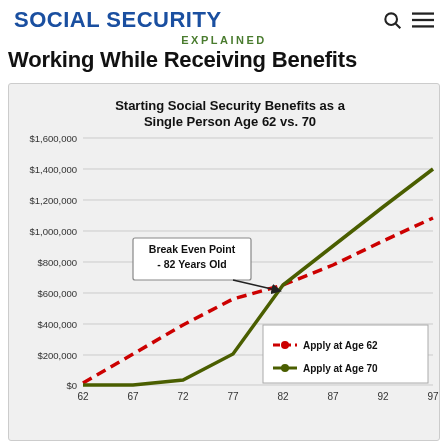SOCIAL SECURITY
EXPLAINED
Working While Receiving Benefits
[Figure (line-chart): Starting Social Security Benefits as a Single Person Age 62 vs. 70]